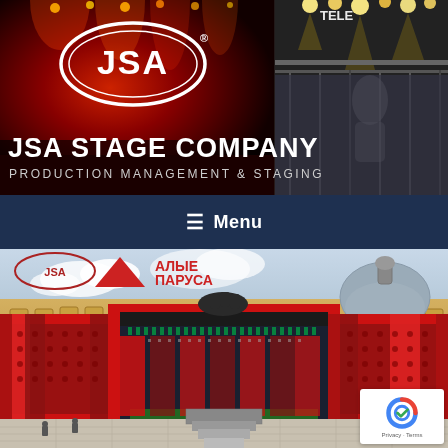[Figure (photo): JSA Stage Company header banner with red concert lighting on left and stage structure on right, with JSA oval logo]
JSA STAGE COMPANY
PRODUCTION MANAGEMENT & STAGING
≡ Menu
[Figure (photo): Large outdoor stage setup in a city square (likely St. Petersburg, Russia), with red panels and JSA and Алые Паруса logos visible. The stage is elaborate with large red fabric walls and ornate building in background. A reCAPTCHA badge is visible in the bottom right corner.]